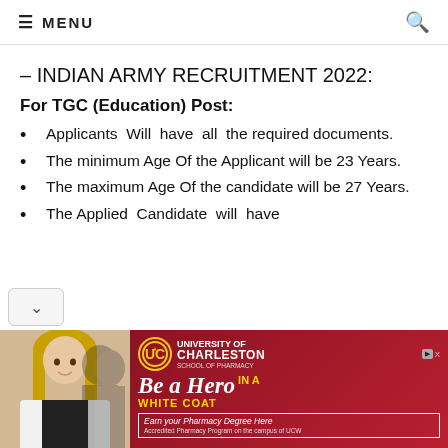MENU
– INDIAN ARMY RECRUITMENT 2022:
For TGC (Education) Post:
Applicants Will have all the required documents.
The minimum Age Of the Applicant will be 23 Years.
The maximum Age Of the candidate will be 27 Years.
The Applied Candidate will have
[Figure (photo): University of Charleston School of Pharmacy advertisement banner showing a woman in a white coat with text 'Be a Hero IN A WHITE COAT – Earn your Pharmacy Degree Here. Accredited Pharmacy Program on the campus of UCW']